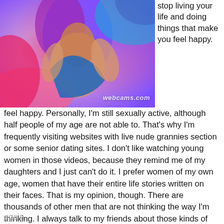[Figure (illustration): Colorful illustrated image of a woman with purple hair against pink and blue background, with watermark 'webcams.com']
stop living your life and doing things that make you feel happy.
feel happy. Personally, I'm still sexually active, although half people of my age are not able to. That's why I'm frequently visiting websites with live nude grannies section or some senior dating sites. I don't like watching young women in those videos, because they remind me of my daughters and I just can't do it. I prefer women of my own age, women that have their entire life stories written on their faces. That is my opinion, though. There are thousands of other men that are not thinking the way I'm thinking. I always talk to my friends about those kinds of websites and they always ignore me. I tell them how amazing that is being able to still feel all that excitement towards ladies like you are a teenage boy all over again.